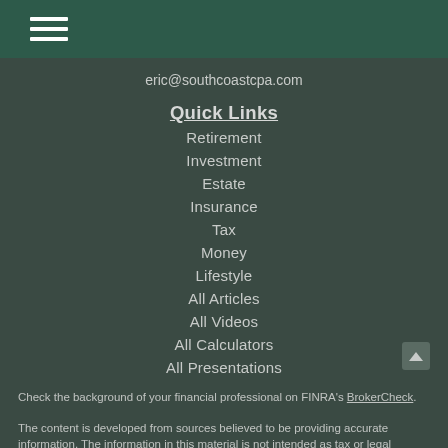eric@southcoastcpa.com
Quick Links
Retirement
Investment
Estate
Insurance
Tax
Money
Lifestyle
All Articles
All Videos
All Calculators
All Presentations
Check the background of your financial professional on FINRA's BrokerCheck.
The content is developed from sources believed to be providing accurate information. The information in this material is not intended as tax or legal advice. Please consult legal or tax professionals for specific information regarding your